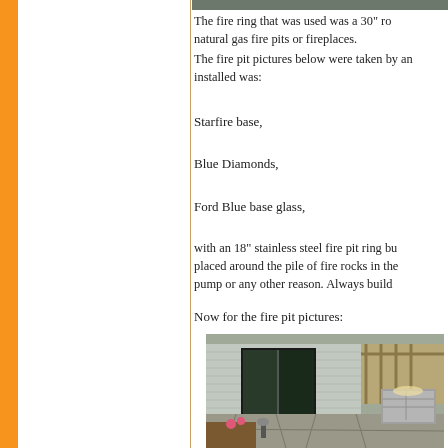[Figure (photo): Top strip photo of outdoor fire pit area]
The fire ring that was used was a 30" ro... natural gas fire pits or fireplaces.
The fire pit pictures below were taken by an... installed was:
Starfire base,
Blue Diamonds,
Ford Blue base glass,
with an 18" stainless steel fire pit ring bu... placed around the pile of fire rocks in the... pump or any other reason. Always build
Now for the fire pit pictures:
[Figure (photo): Photo of outdoor patio with stone fire pit, house with sliding glass doors, flagstone patio, mulch landscaping]